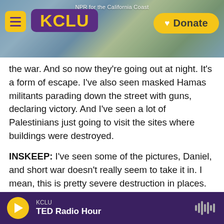NPR for the California Coast — KCLU — Donate
the war. And so now they're going out at night. It's a form of escape. I've also seen masked Hamas militants parading down the street with guns, declaring victory. And I've seen a lot of Palestinians just going to visit the sites where buildings were destroyed.
INSKEEP: I've seen some of the pictures, Daniel, and short war doesn't really seem to take it in. I mean, this is pretty severe destruction in places.
ESTRIN: Yeah. And the bombings were scattered throughout Gaza. So when you drive around in
KCLU — TED Radio Hour